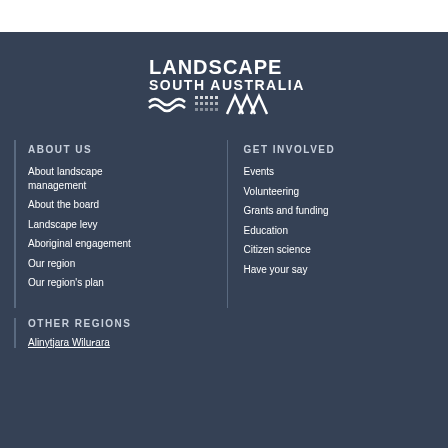[Figure (logo): Landscape South Australia logo with text and wave/pattern graphic in white]
ABOUT US
About landscape management
About the board
Landscape levy
Aboriginal engagement
Our region
Our region's plan
GET INVOLVED
Events
Volunteering
Grants and funding
Education
Citizen science
Have your say
OTHER REGIONS
Alinytjara Wilurara